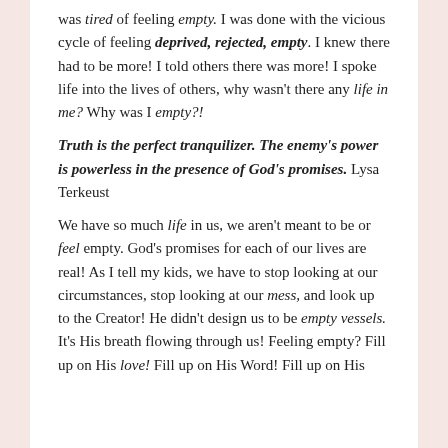was tired of feeling empty. I was done with the vicious cycle of feeling deprived, rejected, empty. I knew there had to be more! I told others there was more! I spoke life into the lives of others, why wasn't there any life in me? Why was I empty?!
Truth is the perfect tranquilizer. The enemy's power is powerless in the presence of God's promises. Lysa Terkeust
We have so much life in us, we aren't meant to be or feel empty. God's promises for each of our lives are real! As I tell my kids, we have to stop looking at our circumstances, stop looking at our mess, and look up to the Creator! He didn't design us to be empty vessels. It's His breath flowing through us! Feeling empty? Fill up on His love! Fill up on His Word! Fill up on His